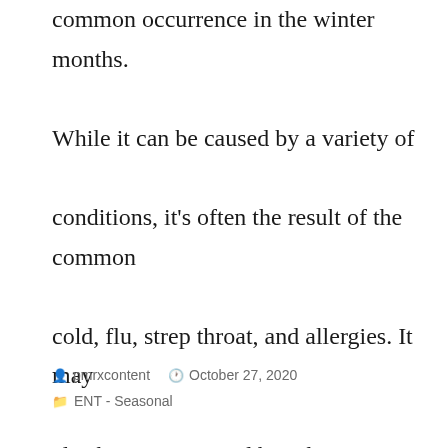common occurrence in the winter months. While it can be caused by a variety of conditions, it's often the result of the common cold, flu, strep throat, and allergies. It may also be accompanied by other symptoms like pain, dry throat, hoarseness, swollen neck, runny nose, headache, […]
pmrxcontent   October 27, 2020   ENT - Seasonal